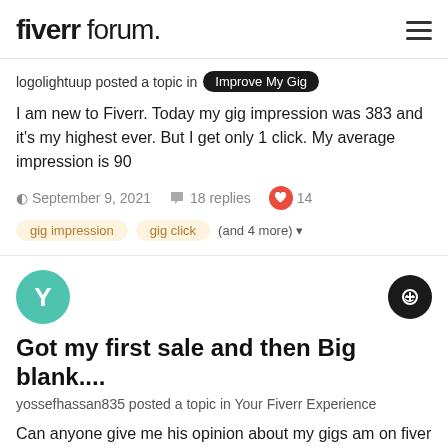fiverr forum.
logolightuup posted a topic in Improve My Gig
I am new to Fiverr. Today my gig impression was 383 and it's my highest ever. But I get only 1 click. My average impression is 90
September 9, 2021  18 replies  14
gig impression  gig click  (and 4 more)
Got my first sale and then Big blank....
yossefhassan835 posted a topic in Your Fiverr Experience
Can anyone give me his opinion about my gigs am on fiver if my memory is good for 15 days now and I made my first sale about
[Figure (screenshot): Thumbnail preview of a screenshot]